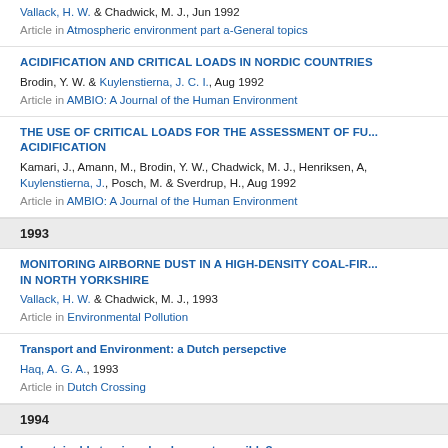Vallack, H. W. & Chadwick, M. J., Jun 1992
Article in Atmospheric environment part a-General topics
ACIDIFICATION AND CRITICAL LOADS IN NORDIC COUNTRIES
Brodin, Y. W. & Kuylenstierna, J. C. I., Aug 1992
Article in AMBIO: A Journal of the Human Environment
THE USE OF CRITICAL LOADS FOR THE ASSESSMENT OF FUTURE ACIDIFICATION
Kamari, J., Amann, M., Brodin, Y. W., Chadwick, M. J., Henriksen, A., Kuylenstierna, J., Posch, M. & Sverdrup, H., Aug 1992
Article in AMBIO: A Journal of the Human Environment
1993
MONITORING AIRBORNE DUST IN A HIGH-DENSITY COAL-FIRED AREA IN NORTH YORKSHIRE
Vallack, H. W. & Chadwick, M. J., 1993
Article in Environmental Pollution
Transport and Environment: a Dutch persepctive
Haq, A. G. A., 1993
Article in Dutch Crossing
1994
Is sustainable tourism development possible?